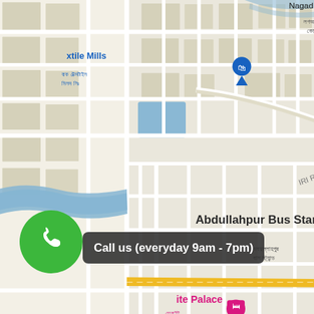[Figure (map): Google Maps screenshot showing Abdullahpur Bus Stand area in Uttara, Dhaka, Bangladesh. Shows roads including IRI Rd, Rd No. 07A, Rd No. 7C, Arichpur Sarkar Bari Rd, road labels Rd #5A, Road-18, Rd No.2, Road-27, Road-30, Road-31, Road-32, Road-9, Rd No 1. Landmarks include Abdullahpur Bus Stand, House Building Bus Stand, Rajuk Uttara Model College, Kuwait Bangladesh Friendship, White/ite Palace hotel, Nagad Customer Care (partially visible), Sector 8, Sector 9, Postal Quarters Uttara. Blue river/canal visible on left. Yellow highway N3 runs vertically. Map pins and bus stop icons visible.]
[Figure (other): Green circular call button with white phone handset icon in bottom-left corner]
Call us (everyday 9am - 7pm)